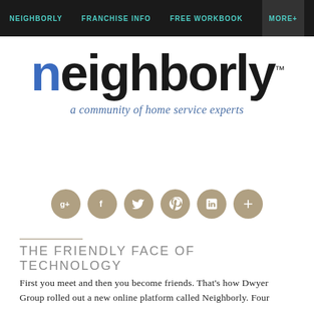NEIGHBORLY  FRANCHISE INFO  FREE WORKBOOK  MORE+
[Figure (logo): Neighborly logo: lowercase 'n' in blue, rest of 'neighborly' in black bold, with TM mark. Tagline: 'a community of home service experts' in blue italic serif.]
[Figure (infographic): Row of six circular social media icon buttons in tan/khaki color: Google+, Facebook, Twitter, Pinterest, LinkedIn, and a plus/more button.]
THE FRIENDLY FACE OF TECHNOLOGY
First you meet and then you become friends. That's how Dwyer Group rolled out a new online platform called Neighborly. Four